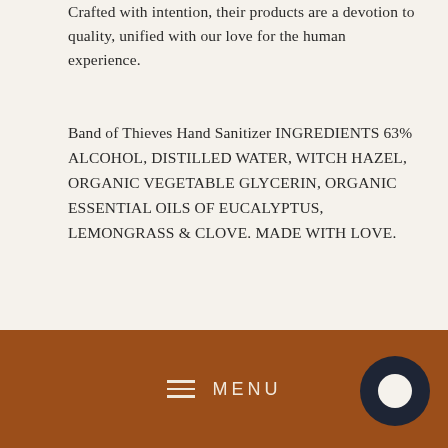Crafted with intention, their products are a devotion to quality, unified with our love for the human experience.
Band of Thieves Hand Sanitizer INGREDIENTS 63% ALCOHOL, DISTILLED WATER, WITCH HAZEL, ORGANIC VEGETABLE GLYCERIN, ORGANIC ESSENTIAL OILS OF EUCALYPTUS, LEMONGRASS & CLOVE. MADE WITH LOVE.
Share   Tweet   Pin it
≡ MENU